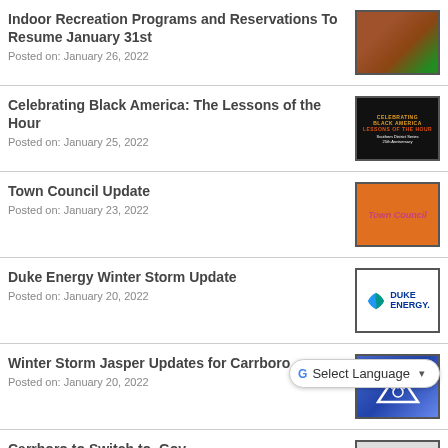Indoor Recreation Programs and Reservations To Resume January 31st
Posted on: January 26, 2022
[Figure (photo): Photo of a brick recreation center building exterior]
Celebrating Black America: The Lessons of the Hour
Posted on: January 25, 2022
[Figure (photo): Black promotional poster for Celebrating Black America: The Lessons of the Hour event]
Town Council Update
Posted on: January 23, 2022
[Figure (photo): Orange Town Council folder/binder]
Duke Energy Winter Storm Update
Posted on: January 20, 2022
[Figure (logo): Duke Energy logo with blue and green swirl icon]
Winter Storm Jasper Updates for Carrboro
Posted on: January 20, 2022
[Figure (photo): Blue snowy background with triangle/snowflake graphic]
Carrboro to Switch to .Gov